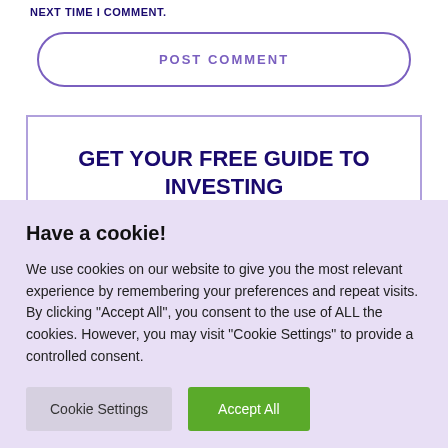NEXT TIME I COMMENT.
POST COMMENT
GET YOUR FREE GUIDE TO INVESTING IN BOOK MARKETING!
Have a cookie!
We use cookies on our website to give you the most relevant experience by remembering your preferences and repeat visits. By clicking "Accept All", you consent to the use of ALL the cookies. However, you may visit "Cookie Settings" to provide a controlled consent.
Cookie Settings  Accept All